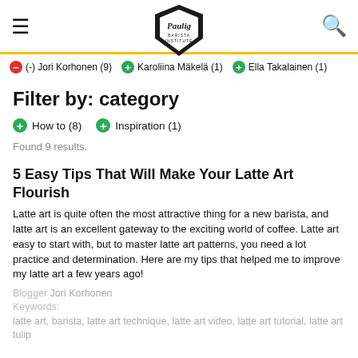Paulig Barista Institute — navigation header with hamburger menu, logo, and search icon
(-) Jori Korhonen (9)   Karoliina Mäkelä (1)   Ella Takalainen (1)
Filter by: category
How to (8)
Inspiration (1)
Found 9 results.
5 Easy Tips That Will Make Your Latte Art Flourish
Latte art is quite often the most attractive thing for a new barista, and latte art is an excellent gateway to the exciting world of coffee. Latte art easy to start with, but to master latte art patterns, you need a lot practice and determination. Here are my tips that helped me to improve my latte art a few years ago!
Blogger Jori Korhonen
Keywords: latte art, barista, latte art technique, latte art video, latte art tutorial, latte art tulip